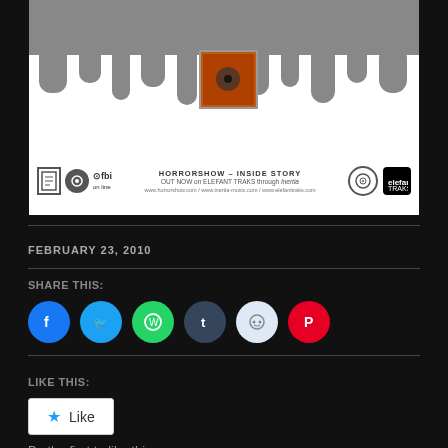[Figure (illustration): Horrorshow Inside Story album promotional banner with dripping paint effect at top, album artwork in center, logos and text reading HORRORSHOW - INSIDE STORY, OUT NOW on ELEFANT TRAKS through Inertia]
FEBRUARY 23, 2010
SHARE THIS:
[Figure (infographic): Social share buttons: Facebook (blue), Twitter (light blue), WhatsApp (green), Tumblr (dark blue), Reddit (light blue), Pinterest (red)]
LIKE THIS:
[Figure (other): Like button widget with star icon]
Be the first to like this.